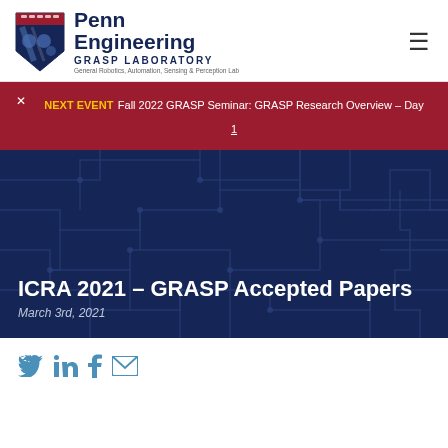Penn Engineering GRASP Laboratory – General Robotics, Automation, Sensing & Perception Lab
NEXT EVENT Fall 2022 GRASP Seminar: GRASP Research Overview – Day 1
ICRA 2021 – GRASP Accepted Papers
March 3rd, 2021
[Figure (logo): Social media icons: Twitter, LinkedIn, Facebook, Email]
[Figure (illustration): Circuit board pattern background in dark navy blue]